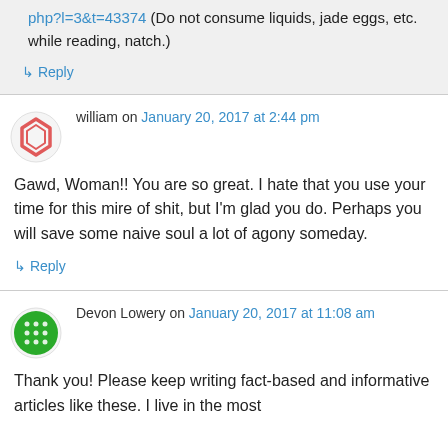php?l=3&t=43374 (Do not consume liquids, jade eggs, etc. while reading, natch.)
↳ Reply
william on January 20, 2017 at 2:44 pm
Gawd, Woman!! You are so great. I hate that you use your time for this mire of shit, but I'm glad you do. Perhaps you will save some naive soul a lot of agony someday.
↳ Reply
Devon Lowery on January 20, 2017 at 11:08 am
Thank you! Please keep writing fact-based and informative articles like these. I live in the most